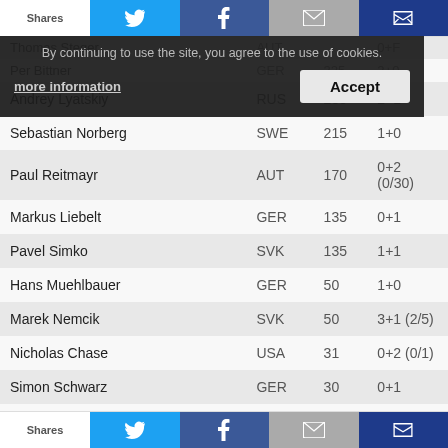| Name | Country | Shares | Result |
| --- | --- | --- | --- |
| Andrey Lyatskiy | RUS | 235 | 2+1 |
| Sebastian Norberg | SWE | 215 | 1+0 |
| Paul Reitmayr | AUT | 170 | 0+2 (0/30) |
| Markus Liebelt | GER | 135 | 0+1 |
| Pavel Simko | SVK | 135 | 1+1 |
| Hans Muehlbauer | GER | 50 | 1+0 |
| Marek Nemcik | SVK | 50 | 3+1 (2/5) |
| Nicholas Chase | USA | 31 | 0+2 (0/1) |
| Simon Schwarz | GER | 30 | 0+1 |
| Hans Christian Tungesvik | NOR | 15 | 0+2 (0/5) |
| Alain Djouad-Guibert | MOR | 10 | 0+2 (0/5) |
| Christian Jais | GER | 10 | 0+1 |
| Lukas Dolan | CZE | 6 | 0+2 (0/1) |